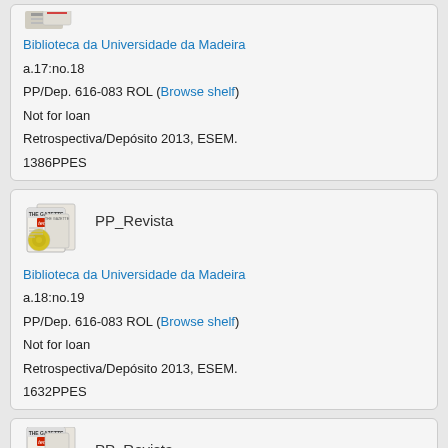Biblioteca da Universidade da Madeira
a.17:no.18
PP/Dep. 616-083 ROL (Browse shelf)
Not for loan
Retrospectiva/Depósito 2013, ESEM.
1386PPES
[Figure (illustration): Magazine/gazette icon for PP_Revista]
PP_Revista
Biblioteca da Universidade da Madeira
a.18:no.19
PP/Dep. 616-083 ROL (Browse shelf)
Not for loan
Retrospectiva/Depósito 2013, ESEM.
1632PPES
[Figure (illustration): Magazine/gazette icon for PP_Revista (partial, bottom card)]
PP_Revista